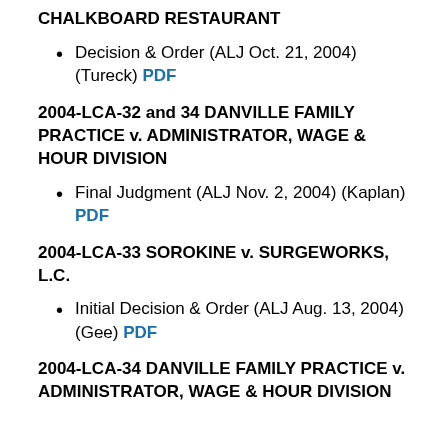CHALKBOARD RESTAURANT
Decision & Order (ALJ Oct. 21, 2004) (Tureck) PDF
2004-LCA-32 and 34 DANVILLE FAMILY PRACTICE v. ADMINISTRATOR, WAGE & HOUR DIVISION
Final Judgment (ALJ Nov. 2, 2004) (Kaplan) PDF
2004-LCA-33 SOROKINE v. SURGEWORKS, L.C.
Initial Decision & Order (ALJ Aug. 13, 2004) (Gee) PDF
2004-LCA-34 DANVILLE FAMILY PRACTICE v. ADMINISTRATOR, WAGE & HOUR DIVISION